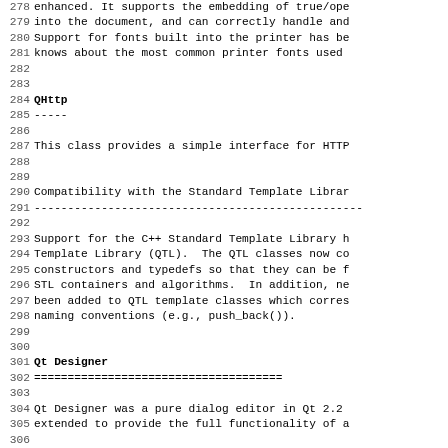278 enhanced. It supports the embedding of true/ope
279 into the document, and can correctly handle and
280 Support for fonts built into the printer has be
281 knows about the most common printer fonts used
282
283
284 QHttp
285 -----
286
287 This class provides a simple interface for HTTP
288
289
290 Compatibility with the Standard Template Librar
291 -------------------------------------------------
292
293 Support for the C++ Standard Template Library h
294 Template Library (QTL).  The QTL classes now co
295 constructors and typedefs so that they can be f
296 STL containers and algorithms.  In addition, ne
297 been added to QTL template classes which corres
298 naming conventions (e.g., push_back()).
299
300
301 Qt Designer
302 =====================================
303
304 Qt Designer was a pure dialog editor in Qt 2.2
305 extended to provide the full functionality of a
306
307 This includes the ability to lay out main windo
308 toolbars. Actions can be edited within Qt Desi